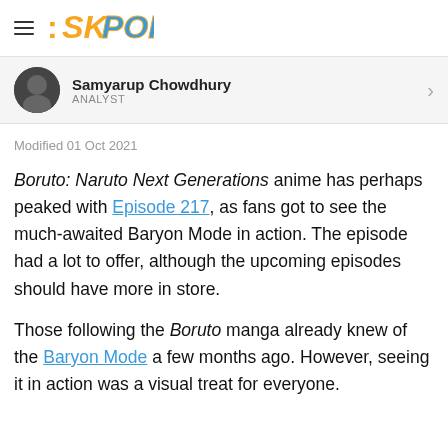SKPOP
Samyarup Chowdhury
ANALYST
Modified 01 Oct 2021
Boruto: Naruto Next Generations anime has perhaps peaked with Episode 217, as fans got to see the much-awaited Baryon Mode in action. The episode had a lot to offer, although the upcoming episodes should have more in store.
Those following the Boruto manga already knew of the Baryon Mode a few months ago. However, seeing it in action was a visual treat for everyone.